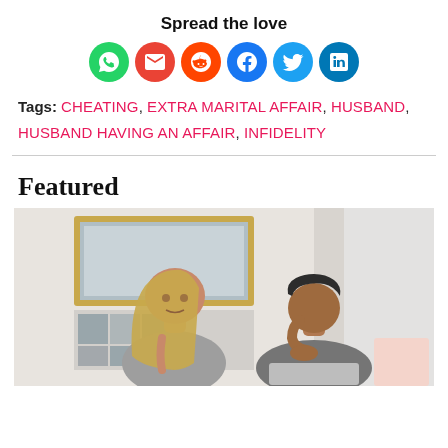Spread the love
[Figure (infographic): Six social sharing icons in colored circles: WhatsApp (green), Gmail (red envelope), Reddit (orange), Facebook (blue), Twitter (blue bird), LinkedIn (blue)]
Tags: CHEATING, EXTRA MARITAL AFFAIR, HUSBAND, HUSBAND HAVING AN AFFAIR, INFIDELITY
Featured
[Figure (photo): A man and a woman sitting apart, both looking distressed. The woman has long blonde hair and is looking away, the man has dark curly hair and is holding his head in his hands. They are in a bright room with a framed mirror on the wall behind them.]